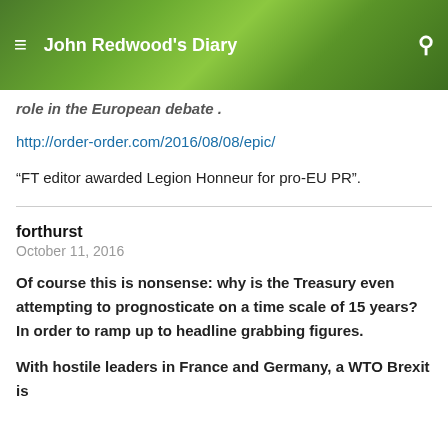John Redwood's Diary
role in the European debate .
http://order-order.com/2016/08/08/epic/
“FT editor awarded Legion Honneur for pro-EU PR”.
forthurst
October 11, 2016
Of course this is nonsense: why is the Treasury even attempting to prognosticate on a time scale of 15 years? In order to ramp up to headline grabbing figures.
With hostile leaders in France and Germany, a WTO Brexit is